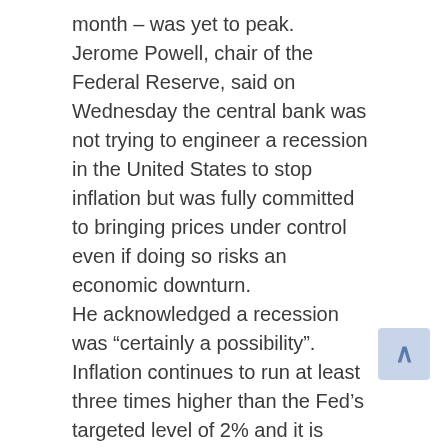month – was yet to peak.
Jerome Powell, chair of the Federal Reserve, said on Wednesday the central bank was not trying to engineer a recession in the United States to stop inflation but was fully committed to bringing prices under control even if doing so risks an economic downturn.
He acknowledged a recession was “certainly a possibility”.
Inflation continues to run at least three times higher than the Fed’s targeted level of 2% and it is expected to deliver another 75 basis point interest rate hike next month, according to economists polled by Reuters.
Despite Powell’s comments a few primary dealers have either started predicting a recession as early as this year or have brought forward their recession calls.
US investment firm PIMCO warned on Wednesday that central banks tightening monetary policy to fight persistently high inflation raised the recessionary risk.